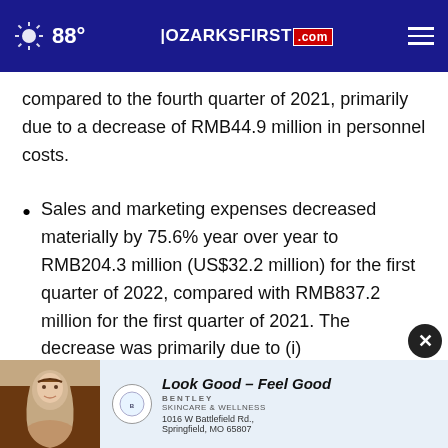88° | OZARKSFIRST.com
compared to the fourth quarter of 2021, primarily due to a decrease of RMB44.9 million in personnel costs.
Sales and marketing expenses decreased materially by 75.6% year over year to RMB204.3 million (US$32.2 million) for the first quarter of 2022, compared with RMB837.2 million for the first quarter of 2021. The decrease was primarily due to (i)
[Figure (photo): Advertisement banner for Bentley Skincare & Wellness: 'Look Good – Feel Good', 1016 W Battlefield Rd., Springfield, MO 65807]